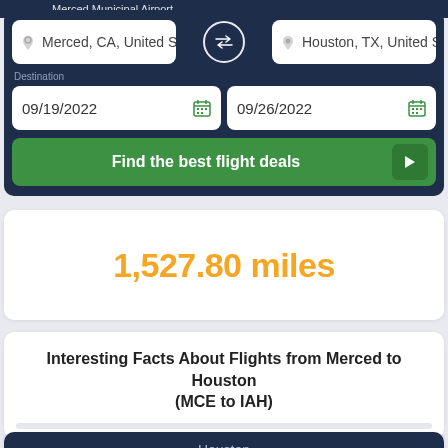Merced Municipal Airport
Merced, CA, United State
Houston, TX, United St
Destination
09/19/2022
09/26/2022
Find the best flight deals
1,527.80 miles
Interesting Facts About Flights from Merced to Houston (MCE to IAH)
Houston
HIGH 85°F
87°F